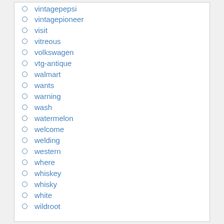vintagepepsi
vintagepioneer
visit
vitreous
volkswagen
vtg-antique
walmart
wants
warning
wash
watermelon
welcome
welding
western
where
whiskey
whisky
white
wildroot